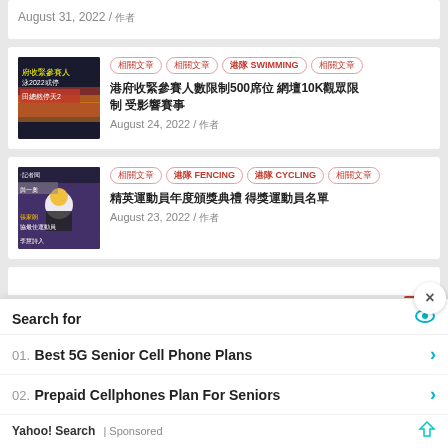August 31, 2022 / 作者
[Figure (photo): Thumbnail image of swimming competition 2022, text overlay in Chinese]
Tags: 相關文章 相關文章 港隊 SWIMMING 相關文章
港府收緊參賽人數限制500席位 網壇10K觀眾限制 受影響賽事
August 24, 2022 / 作者
[Figure (photo): Thumbnail image with Chinese sports personalities, including 張家朗 and 李慧詩]
Tags: 相關文章 港隊 FENCING 港隊 CYCLING 相關文章
精英運動員年度頒獎典禮 得獎運動員名單
August 23, 2022 / 作者
Search for
01. Best 5G Senior Cell Phone Plans
02. Prepaid Cellphones Plan For Seniors
Yahoo! Search | Sponsored